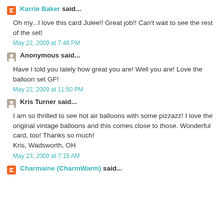Karrie Baker said...
Oh my...I love this card Julee!! Great job!! Can't wait to see the rest of the set!
May 22, 2009 at 7:48 PM
Anonymous said...
Have I told you lately how great you are! Well you are! Love the balloon set GF!
May 22, 2009 at 11:50 PM
Kris Turner said...
I am so thrilled to see hot air balloons with some pizzazz! I love the original vintage balloons and this comes close to those. Wonderful card, too! Thanks so much! Kris, Wadsworth, OH
May 23, 2009 at 7:15 AM
Charmaine (CharmWarm) said...